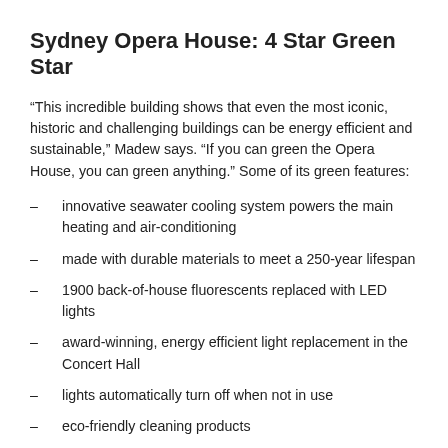Sydney Opera House: 4 Star Green Star
“This incredible building shows that even the most iconic, historic and challenging buildings can be energy efficient and sustainable,” Madew says. “If you can green the Opera House, you can green anything.” Some of its green features:
innovative seawater cooling system powers the main heating and air-conditioning
made with durable materials to meet a 250-year lifespan
1900 back-of-house fluorescents replaced with LED lights
award-winning, energy efficient light replacement in the Concert Hall
lights automatically turn off when not in use
eco-friendly cleaning products
recycling of eight different waste streams from cans to light bulbs and computers
environmental monitoring strategy is in place.